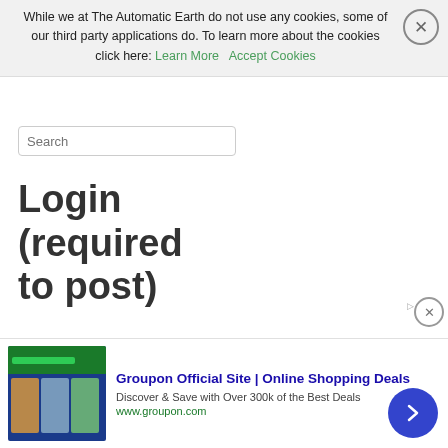While we at The Automatic Earth do not use any cookies, some of our third party applications do. To learn more about the cookies click here: Learn More   Accept Cookies
[Figure (screenshot): Search input box with placeholder text 'Search']
Login (required to post)
Username:
Password:
[Figure (screenshot): Groupon advertisement banner: 'Groupon Official Site | Online Shopping Deals - Discover & Save with Over 300k of the Best Deals - www.groupon.com']